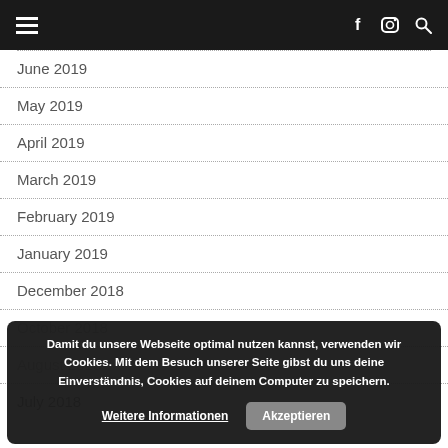Navigation bar with hamburger menu, Facebook, Instagram, and search icons
June 2019
May 2019
April 2019
March 2019
February 2019
January 2019
December 2018
October 2018
August 2018
July 2018
Damit du unsere Webseite optimal nutzen kannst, verwenden wir Cookies. Mit dem Besuch unserer Seite gibst du uns deine Einverständnis, Cookies auf deinem Computer zu speichern. Weitere Informationen | Akzeptieren